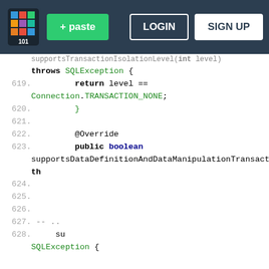[Figure (screenshot): Pastebin website header with logo, green paste button, LOGIN and SIGN UP buttons on dark navy background]
supportsTransactionIsolationLevel(int level)
throws SQLException {
619.    return level ==
Connection.TRANSACTION_NONE;
620.    }
621.
622.    @Override
623.    public boolean
supportsDataDefinitionAndDataManipulationTransactions
th
We use cookies for various purposes including analytics. By continuing to use Pastebin, you agree to our use of cookies as described in the Cookies Policy.   OK, I Understand
624.
625.
626.
627.    --  ..
628.    su
Not a member of Pastebin yet? Sign Up, it unlocks many cool features!
SQLException {